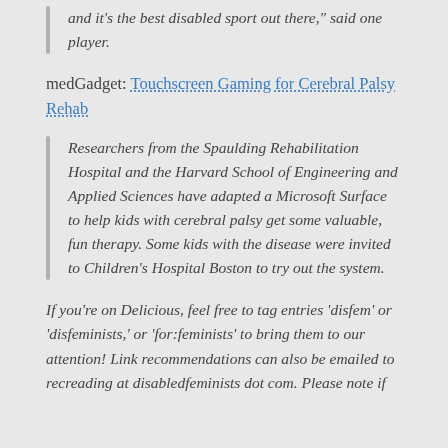and it's the best disabled sport out there," said one player.
medGadget: Touchscreen Gaming for Cerebral Palsy Rehab
Researchers from the Spaulding Rehabilitation Hospital and the Harvard School of Engineering and Applied Sciences have adapted a Microsoft Surface to help kids with cerebral palsy get some valuable, fun therapy. Some kids with the disease were invited to Children's Hospital Boston to try out the system.
If you're on Delicious, feel free to tag entries 'disfem' or 'disfeminists,' or 'for:feminists' to bring them to our attention! Link recommendations can also be emailed to recreading at disabledfeminists dot com. Please note if